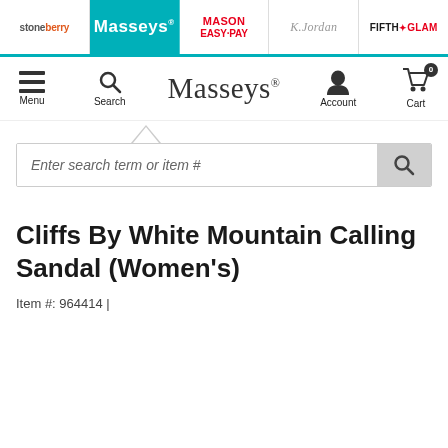stoneberry | Masseys | MASON EASY-PAY | K.Jordan | FIFTH GLAM
[Figure (logo): Masseys navigation bar with Menu, Search, Masseys logo, Account, and Cart (0) icons]
[Figure (screenshot): Search input box with placeholder 'Enter search term or item #' and search button]
Cliffs By White Mountain Calling Sandal (Women's)
Item #: 964414 |